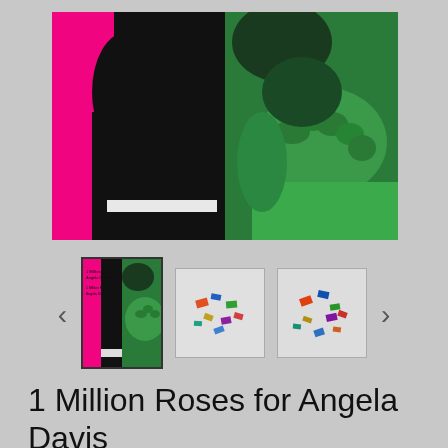[Figure (photo): Main product image: split composition book cover showing left half with hot pink background and black silhouette of raised fist, right half with green-toned photographic image of hands clasped together. The book is '1 Million Roses for Angela Davis'.]
[Figure (photo): Thumbnail 1 (selected): Book cover showing pink and green Angela Davis image with title text.]
[Figure (photo): Thumbnail 2: Small image showing colorful scattered objects.]
[Figure (photo): Thumbnail 3: Small image showing colorful scattered objects, similar to thumbnail 2.]
1 Million Roses for Angela Davis